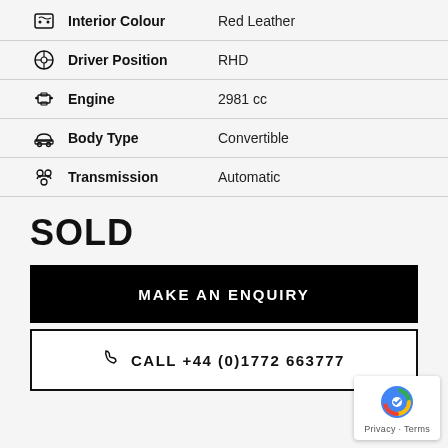Interior Colour: Red Leather
Driver Position: RHD
Engine: 2981 cc
Body Type: Convertible
Transmission: Automatic
SOLD
MAKE AN ENQUIRY
CALL +44 (0)1772 663777
Privacy · Terms